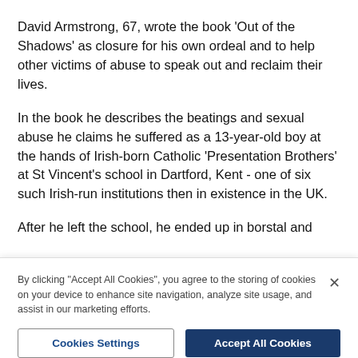David Armstrong, 67, wrote the book 'Out of the Shadows' as closure for his own ordeal and to help other victims of abuse to speak out and reclaim their lives.
In the book he describes the beatings and sexual abuse he claims he suffered as a 13-year-old boy at the hands of Irish-born Catholic 'Presentation Brothers' at St Vincent's school in Dartford, Kent - one of six such Irish-run institutions then in existence in the UK.
After he left the school, he ended up in borstal and
By clicking "Accept All Cookies", you agree to the storing of cookies on your device to enhance site navigation, analyze site usage, and assist in our marketing efforts.